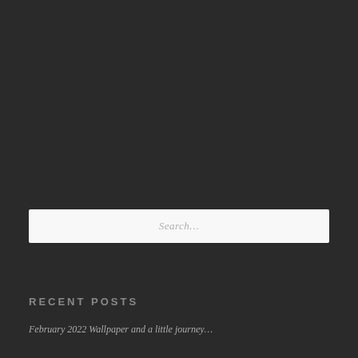Search...
RECENT POSTS
February 2022 Wallpaper and a little journey…